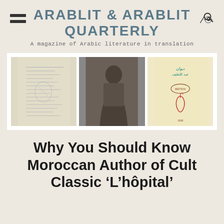ARABLIT & ARABLIT QUARTERLY
A magazine of Arabic literature in translation
[Figure (photo): Three images side by side: a handwritten manuscript page in French, a black and white photograph of a person writing, and a book cover with Arabic script and red calligraphy on cream background.]
Why You Should Know Moroccan Author of Cult Classic 'L'hôpital'